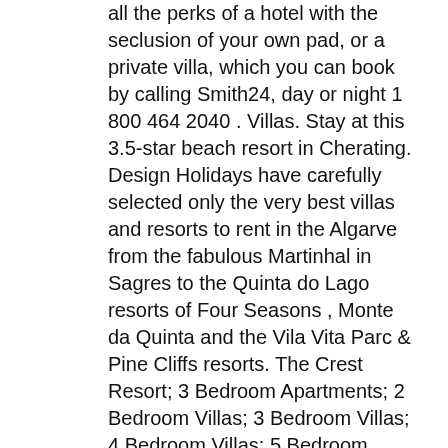all the perks of a hotel with the seclusion of your own pad, or a private villa, which you can book by calling Smith24, day or night 1 800 464 2040 . Villas. Stay at this 3.5-star beach resort in Cherating. Design Holidays have carefully selected only the very best villas and resorts to rent in the Algarve from the fabulous Martinhal in Sagres to the Quinta do Lago resorts of Four Seasons , Monte da Quinta and the Vila Vita Parc & Pine Cliffs resorts. The Crest Resort; 3 Bedroom Apartments; 2 Bedroom Villas; 3 Bedroom Villas; 4 Bedroom Villas; 5 Bedroom Villas; Pro-Ams. Dibina pada tahun 1987, tempat itu telah diubah suai sepenuhnya pada tahun 1992. Adventure Activities. With a personal approach to service, our team excels in making your visions into a perfect vacations. Luxury Resort Villa holidays in Europe via Just Resorts, a fully bonded Tour Operator with 100% Customer Service excellence via the independent review platform, Feefo. Holiday Villa Holiday, situated close to North End of The Long Beach, offers accommodation with a free private carpark, a safety deposit box and a private car park. Windjammer Landing Villa Beach Resort is situated in a premier hillside position and is a fantastic choice for